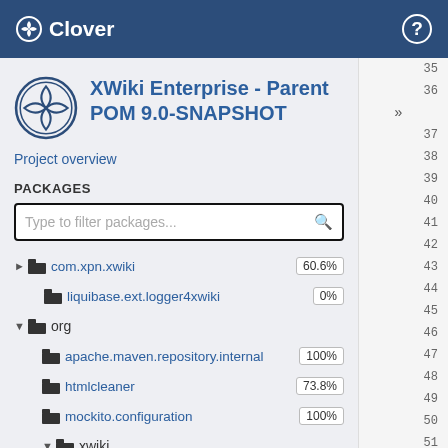Clover
XWiki Enterprise - Parent POM 9.0-SNAPSHOT
Project overview
PACKAGES
Type to filter packages...
com.xpn.xwiki  60.6%
liquibase.ext.logger4xwiki  0%
org
apache.maven.repository.internal  100%
htmlcleaner  73.8%
mockito.configuration  100%
xwiki
activeinstalls  0%
activitystream  34.8%